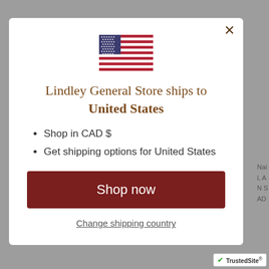[Figure (illustration): US flag SVG illustration]
Lindley General Store ships to United States
Shop in CAD $
Get shipping options for United States
Shop now
Change shipping country